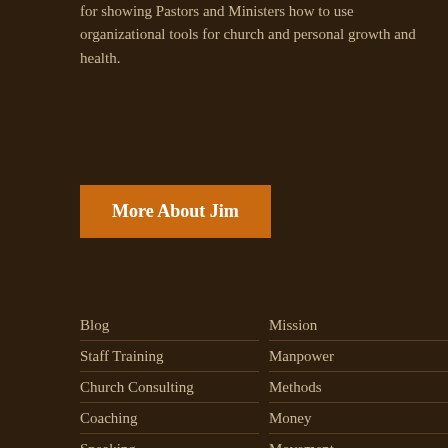for showing Pastors and Ministers how to use organizational tools for church and personal growth and health.
More About Jim
Blog
Staff Training
Church Consulting
Coaching
Speaking
Art
Resources
Endorsements
About
Mission
Manpower
Methods
Money
Movement
Messages
Might
Meetings
Maximization